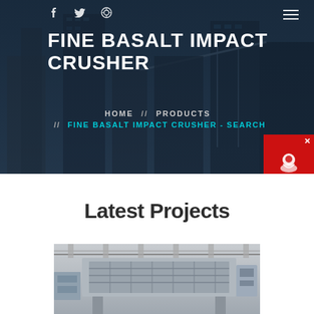FINE BASALT IMPACT CRUSHER
HOME // PRODUCTS // FINE BASALT IMPACT CRUSHER - SEARCH
[Figure (screenshot): Chat Now widget with red background and chat icon]
Latest Projects
[Figure (photo): Industrial crusher machine photographed indoors in a facility with metal framework and equipment]